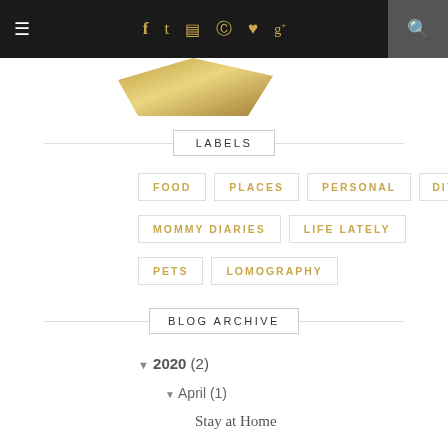≡ f t ☎ ℗ ♥ g+ 🔍
[Figure (illustration): Partial gold decorative logo/image at top left below nav bar]
LABELS
FOOD
PLACES
PERSONAL
DIY
MOMMY DIARIES
LIFE LATELY
PETS
LOMOGRAPHY
BLOG ARCHIVE
▼ 2020 (2)
▼ April (1)
Stay at Home